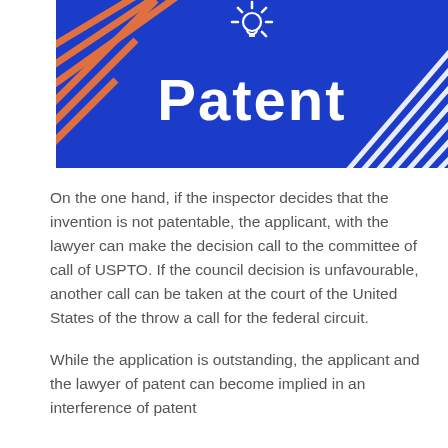[Figure (illustration): Blue background graphic with diagonal orange and white stripe decorations in corners, a white lightbulb icon at top center with rays, and bold white text 'Patent' in the center.]
On the one hand, if the inspector decides that the invention is not patentable, the applicant, with the lawyer can make the decision call to the committee of call of USPTO. If the council decision is unfavourable, another call can be taken at the court of the United States of the throw a call for the federal circuit.
While the application is outstanding, the applicant and the lawyer of patent can become implied in an interference of patent